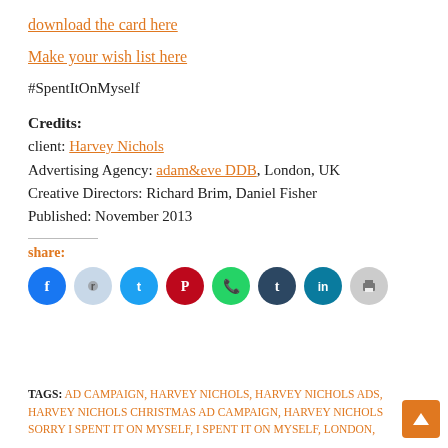download the card here
Make your wish list here
#SpentItOnMyself
Credits:
client: Harvey Nichols
Advertising Agency: adam&eve DDB, London, UK
Creative Directors: Richard Brim, Daniel Fisher
Published: November 2013
share:
[Figure (infographic): Row of social media share icons: Facebook (blue), Reddit (light blue-grey), Twitter (cyan), Pinterest (dark red), WhatsApp (green), Tumblr (dark navy), LinkedIn (teal), Print (light grey)]
TAGS: AD CAMPAIGN, HARVEY NICHOLS, HARVEY NICHOLS ADS, HARVEY NICHOLS CHRISTMAS AD CAMPAIGN, HARVEY NICHOLS SORRY I SPENT IT ON MYSELF, I SPENT IT ON MYSELF, LONDON,